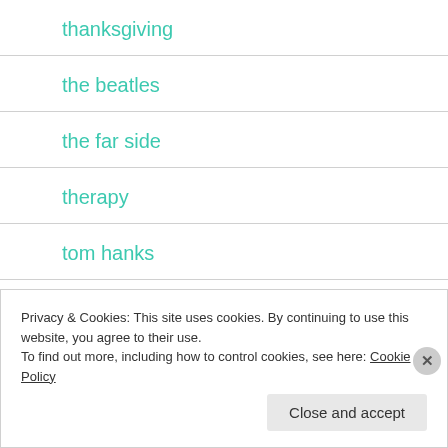thanksgiving
the beatles
the far side
therapy
tom hanks
top ten cartoons on the internet
Privacy & Cookies: This site uses cookies. By continuing to use this website, you agree to their use.
To find out more, including how to control cookies, see here: Cookie Policy